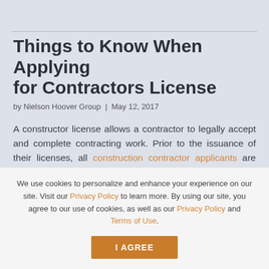Things to Know When Applying for Contractors License
by Nielson Hoover Group  |  May 12, 2017
A constructor license allows a contractor to legally accept and complete contracting work. Prior to the issuance of their licenses, all construction contractor applicants are required by Florida law to prove that they are both financially accountable and stable. As per the Construction Industry Licensing Board, a contractor is considered to be financially accountable if... Continue reading
We use cookies to personalize and enhance your experience on our site. Visit our Privacy Policy to learn more. By using our site, you agree to our use of cookies, as well as our Privacy Policy and Terms of Use.
I AGREE